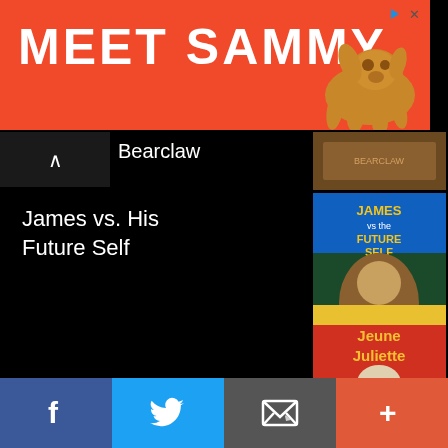[Figure (photo): Advertisement banner with orange/red background showing text 'MEET SAMMY.' and a dog photo on the right, with ad icons top right]
Bearclaw
[Figure (photo): Movie poster for Bearclaw]
James vs. His Future Self
[Figure (photo): Movie poster for James vs. His Future Self]
Jeune Juliette
[Figure (photo): Movie poster for Jeune Juliette - red background with character]
[Figure (photo): Partially visible movie poster at bottom]
Facebook | Twitter | Email | More